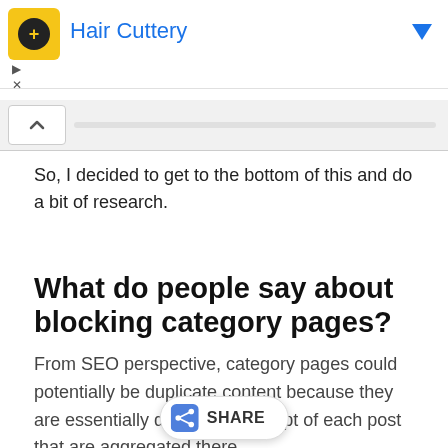[Figure (screenshot): Hair Cuttery advertisement banner with yellow icon, blue title text, and blue dropdown arrow]
So, I decided to get to the bottom of this and do a bit of research.
What do people say about blocking category pages?
From SEO perspective, category pages could potentially be duplicate content because they are essentially displaying excerpt of each post that are aggregated there.
On the other hand, if done right, it could bring you additional traffic according to the best answer